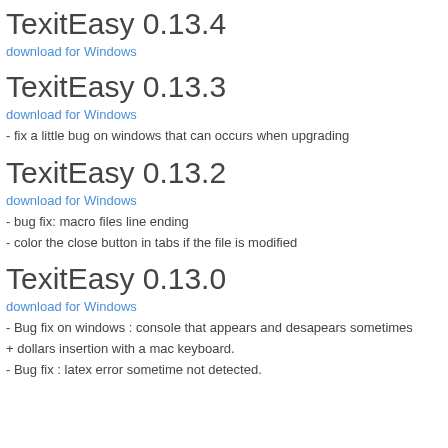TexitEasy 0.13.4
download for Windows
TexitEasy 0.13.3
download for Windows
- fix a little bug on windows that can occurs when upgrading
TexitEasy 0.13.2
download for Windows
- bug fix: macro files line ending
- color the close button in tabs if the file is modified
TexitEasy 0.13.0
download for Windows
- Bug fix on windows : console that appears and desapears sometimes
+ dollars insertion with a mac keyboard.
- Bug fix : latex error sometime not detected.